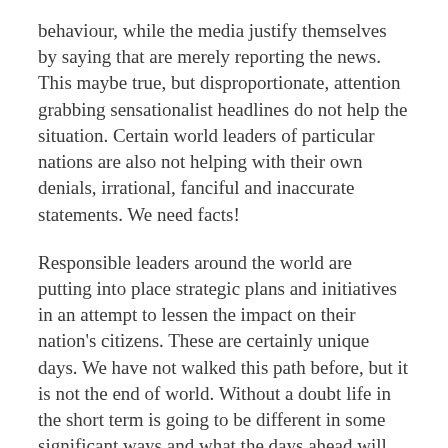behaviour, while the media justify themselves by saying that are merely reporting the news. This maybe true, but disproportionate, attention grabbing sensationalist headlines do not help the situation. Certain world leaders of particular nations are also not helping with their own denials, irrational, fanciful and inaccurate statements. We need facts!
Responsible leaders around the world are putting into place strategic plans and initiatives in an attempt to lessen the impact on their nation's citizens. These are certainly unique days. We have not walked this path before, but it is not the end of world. Without a doubt life in the short term is going to be different in some significant ways and what the days ahead will actually look like is still unsure. Nevertheless, do not fear! We can and will walk through this together.
Has this virus caught God by surprise? No, not at all! For